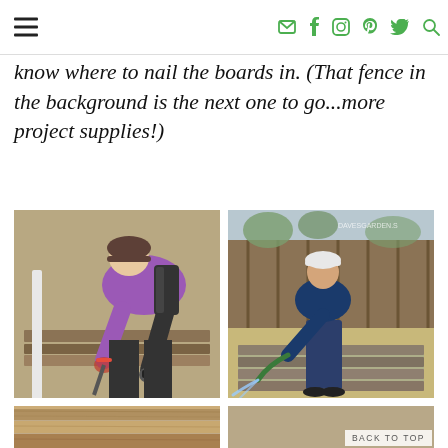Navigation bar with hamburger menu and social icons (email, facebook, instagram, pinterest, twitter, search)
should keep any more splinters at bay.  c) We marked the studs with painter's tape so we would know where to nail the boards in.  (That fence in the background is the next one to go...more project supplies!)
[Figure (photo): Person bending over working on wooden boards/fence panels on dirt ground, wearing purple shirt and camo hat]
[Figure (photo): Person pressure washing or hosing down wooden fence boards lying on dry grass, wooden fence in background]
[Figure (photo): Close-up of reclaimed wood boards showing grain texture, partially cut off at bottom]
[Figure (photo): Close-up of worn/distressed wood surface texture, partially visible]